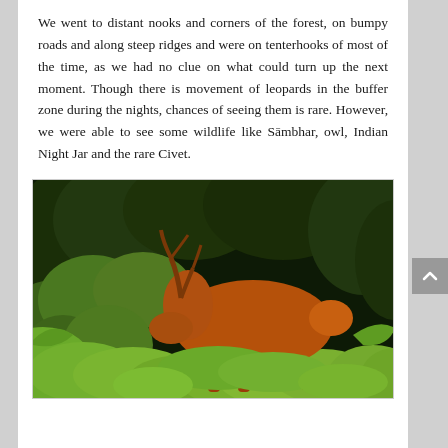We went to distant nooks and corners of the forest, on bumpy roads and along steep ridges and were on tenterhooks of most of the time, as we had no clue on what could turn up the next moment. Though there is movement of leopards in the buffer zone during the nights, chances of seeing them is rare. However, we were able to see some wildlife like Sambhar, owl, Indian Night Jar and the rare Civet.
[Figure (photo): Night photograph of a Sambhar deer (reddish-brown) foraging among dense green forest undergrowth and foliage, captured with flash/spotlight illumination.]